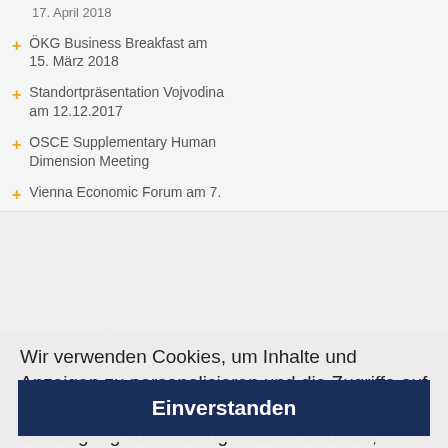17. April 2018
ÖKG Business Breakfast am 15. März 2018
Standortpräsentation Vojvodina am 12.12.2017
OSCE Supplementary Human Dimension Meeting
Vienna Economic Forum am 7.
November 2017
"Speak truth about Karabakh
EXPO Astrit, Serbia
Ambassadors
Deutsche Award 2017
Informationen und Zertifikat
Republik Kasachstan
Wir verwenden Cookies, um Inhalte und Anzeigen zu personalisieren und die Zugriffe auf unsere Website zu analysieren. Eine Einwilligung zur Nutzung unserer Cookies, ermöglicht es Ihnen unsere Webseite weiterhin optimal nutzen zu können. Weitere Informationen: Datenschutzerklärung
Einverstanden